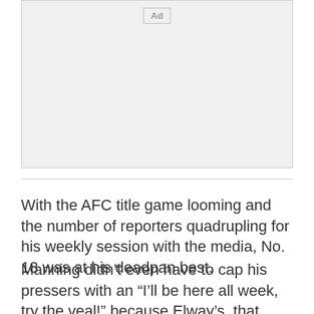[Figure (other): Advertisement placeholder box with 'Ad' label in top center]
With the AFC title game looming and the number of reporters quadrupling for his weekly session with the media, No. 18 was at his deadpan best.
Manning didn't even have to cap his pressers with an “I'll be here all week, try the veal!” because Elway’s, that swank restaurant owned by, yes, his boss, John Elway, catered lunch. So, it was more like, try the carved